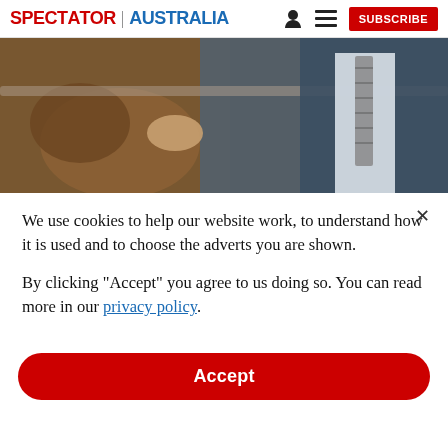SPECTATOR | AUSTRALIA  [person icon] [menu icon]  SUBSCRIBE
[Figure (photo): Close-up photo of a person in a dark blazer with a striped tie standing near cattle in a barn/stockyard setting.]
We use cookies to help our website work, to understand how it is used and to choose the adverts you are shown.
By clicking "Accept" you agree to us doing so. You can read more in our privacy policy.